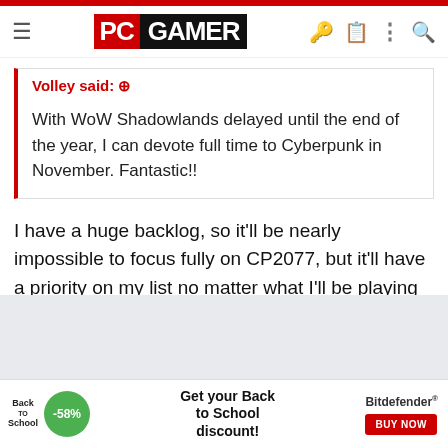PC GAMER
Volley said: ↑

With WoW Shadowlands delayed until the end of the year, I can devote full time to Cyberpunk in November. Fantastic!!
I have a huge backlog, so it'll be nearly impossible to focus fully on CP2077, but it'll have a priority on my list no matter what I'll be playing when it comes out. 🙂 1,5 month left!
[Figure (infographic): Bitdefender Back to School advertisement banner with -58% discount and Buy Now button]